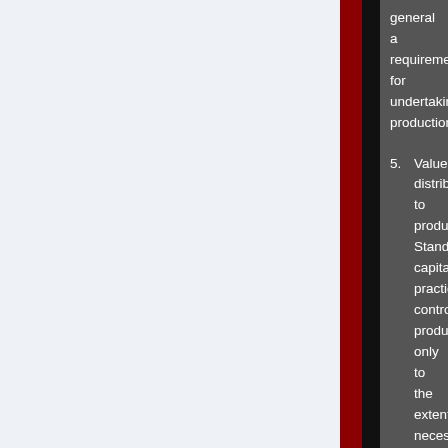general a requirement for undertaking production.
5. Value distribution to producers. Standard capitalist practice controls production only to the extent necessary to extract the